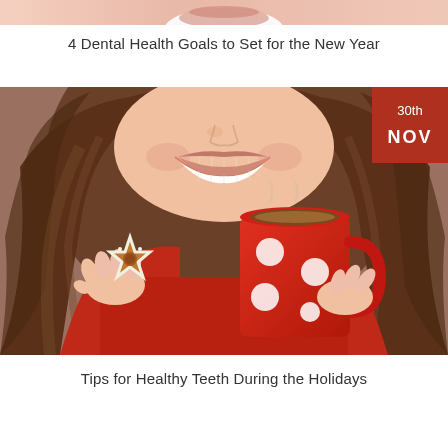[Figure (photo): Close-up of a smiling person, partially cropped at top of page]
4 Dental Health Goals to Set for the New Year
[Figure (photo): Woman smiling, holding a Christmas gingerbread cookie and a red polka-dot mug, with a date badge showing 30th NOV in red]
Tips for Healthy Teeth During the Holidays